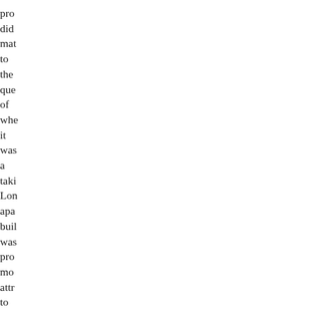pro did mat to the que of whe it was a taki Lon apa buil was pro mo attr to ten bec of